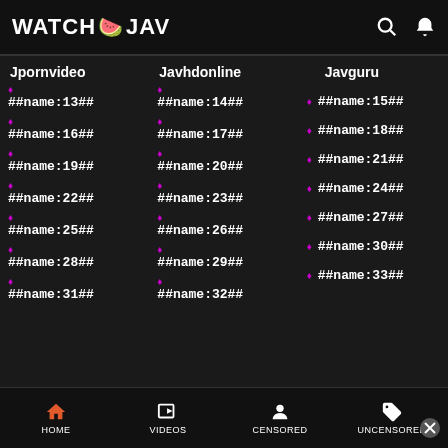WATCH JAV
Jpornvideo
Javhdonline
Javguru
##name:13##
##name:14##
##name:15##
##name:16##
##name:17##
##name:18##
##name:19##
##name:20##
##name:21##
##name:22##
##name:23##
##name:24##
##name:25##
##name:26##
##name:27##
##name:28##
##name:29##
##name:30##
##name:31##
##name:32##
##name:33##
HOME  VIDEOS  CENSORED  UNCENSORED